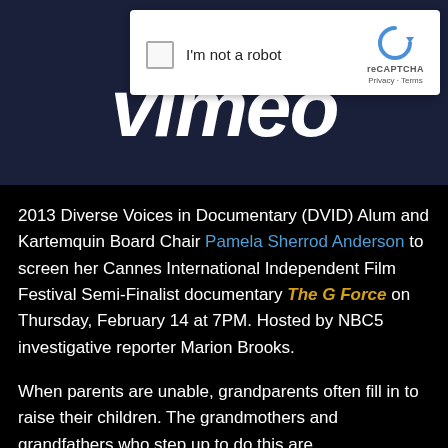[Figure (screenshot): Vimeo website banner with dark navy background showing the Vimeo logo text in white italic bold font, partially obscured by a reCAPTCHA 'I'm not a robot' verification widget overlay in the top right area]
2013 Diverse Voices in Documentary (DVID) Alum and Kartemquin Board Chair Pamela Sherrod Anderson to screen her Cannes International Independent Film Festival Semi-Finalist documentary The G Force on Thursday, February 14 at 7PM. Hosted by NBC5 investigative reporter Marion Brooks.
When parents are unable, grandparents often fill in to raise their children. The grandmothers and grandfathers who step up to do this are